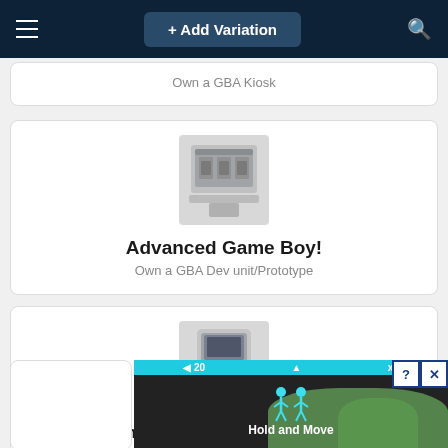+ Add Variation
Own a GBA Kiosk
[Figure (illustration): Gray pixel-art style icon of a GBA kiosk display unit]
Advanced Game Boy!
Own a GBA Dev unit/Prototype
[Figure (illustration): Gray pixel-art style icon of a Game Boy Advance SP handheld console]
But, can your console do this? *claps*
Own a GBA SP
[Figure (screenshot): Bottom portion shows a mobile ad banner with 'Hold and Move' text, two human figure icons, close and help buttons, and a street/nature background]